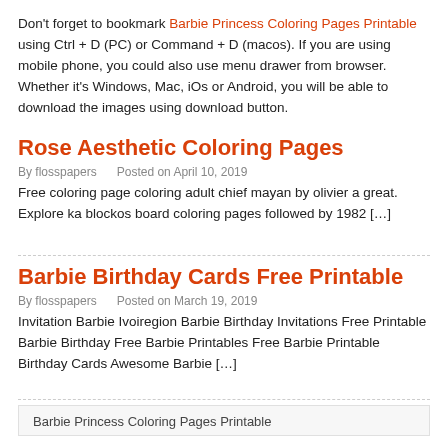Don't forget to bookmark Barbie Princess Coloring Pages Printable using Ctrl + D (PC) or Command + D (macos). If you are using mobile phone, you could also use menu drawer from browser. Whether it's Windows, Mac, iOs or Android, you will be able to download the images using download button.
Rose Aesthetic Coloring Pages
By flosspapers   Posted on April 10, 2019
Free coloring page coloring adult chief mayan by olivier a great. Explore ka blockos board coloring pages followed by 1982 […]
Barbie Birthday Cards Free Printable
By flosspapers   Posted on March 19, 2019
Invitation Barbie Ivoiregion Barbie Birthday Invitations Free Printable Barbie Birthday Free Barbie Printables Free Barbie Printable Birthday Cards Awesome Barbie […]
Barbie Princess Coloring Pages Printable